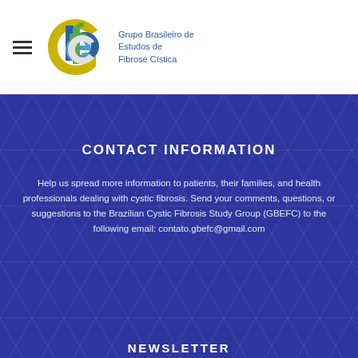[Figure (logo): GBEFC logo with stylized blue/green/yellow circular letters and text 'Grupo Brasileiro de Estudos de Fibrose Cistica']
CONTACT INFORMATION
Help us spread more information to patients, their families, and health professionals dealing with cystic fibrosis. Send your comments, questions, or suggestions to the Brazilian Cystic Fibrosis Study Group (GBEFC) to the following email: contato.gbefc@gmail.com
NEWSLETTER